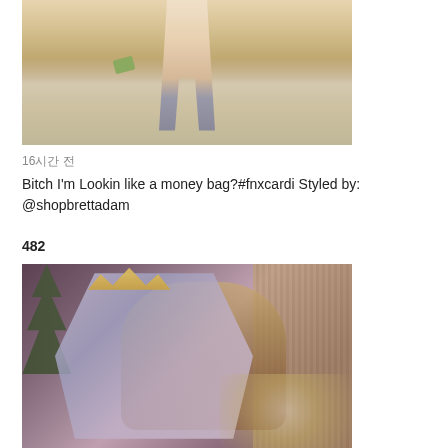[Figure (photo): Person standing on white marble stairs wearing a short white dress and tall knee-high boots patterned like dollar bills, holding a money bag clutch.]
16시간 전
Bitch I'm Lookin like a money bag?#fnxcardi Styled by: @shopbrettadam
482
[Figure (photo): Woman wearing a patterned outfit and crown sitting in a ornate gold-framed chair in a lavish setting with plants and gold window bars.]